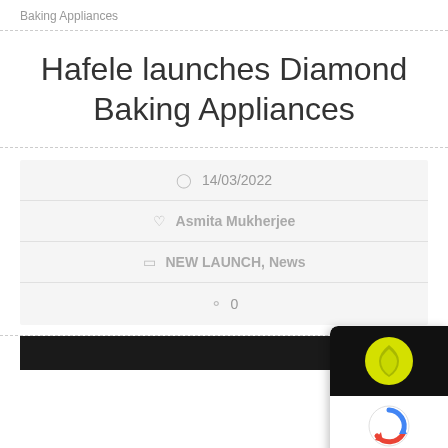Baking Appliances
Hafele launches Diamond Baking Appliances
14/03/2022
Asmita Mukherjee
NEW LAUNCH, News
0
[Figure (photo): Bottom of page showing dark strip, partial image, and reCAPTCHA overlay with Privacy - Terms label]